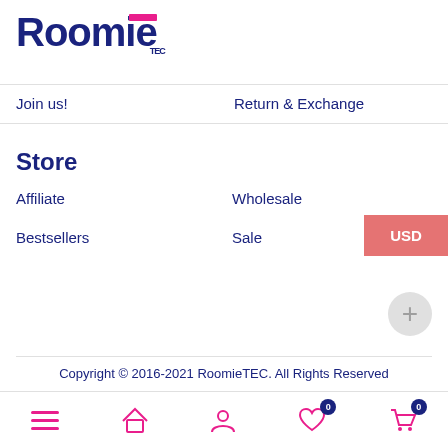Roomie
Join us!
Return & Exchange
Store
Affiliate
Wholesale
Bestsellers
Sale
Copyright © 2016-2021 RoomieTEC. All Rights Reserved
[Figure (logo): Payment method logos: VISA, MasterCard, American Express, Discover, UnionPay, Apple Pay, Google Pay]